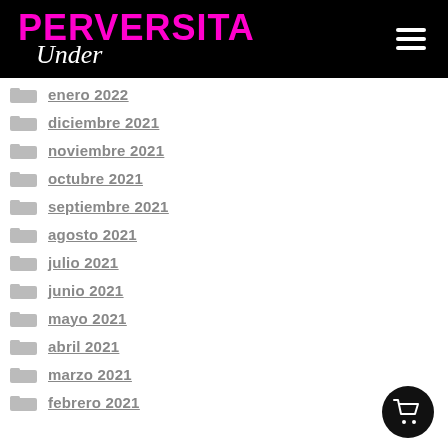PERVERSITA Under
enero 2022
diciembre 2021
noviembre 2021
octubre 2021
septiembre 2021
agosto 2021
julio 2021
junio 2021
mayo 2021
abril 2021
marzo 2021
febrero 2021